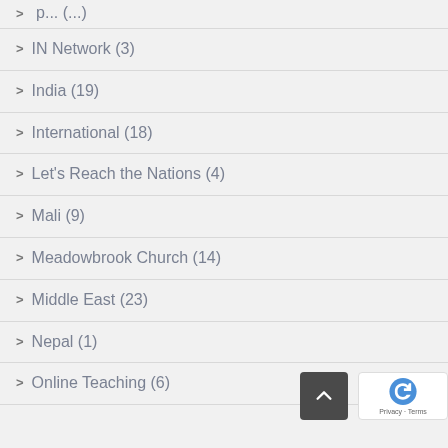IN Network (3)
India (19)
International (18)
Let's Reach the Nations (4)
Mali (9)
Meadowbrook Church (14)
Middle East (23)
Nepal (1)
Online Teaching (6)